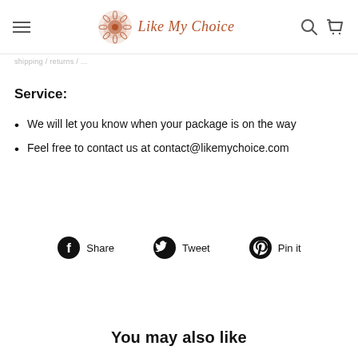Like My Choice — navigation header with hamburger menu, logo, search and cart icons
Shipping / ...
Service:
We will let you know when your package is on the way
Feel free to contact us at contact@likemychoice.com
Share   Tweet   Pin it
You may also like